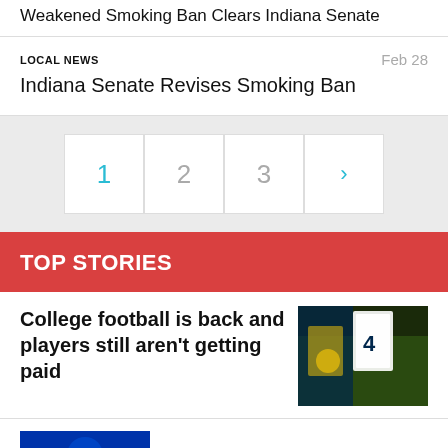Weakened Smoking Ban Clears Indiana Senate
LOCAL NEWS
Feb 28
Indiana Senate Revises Smoking Ban
1
2
3
>
TOP STORIES
College football is back and players still aren’t getting paid
[Figure (photo): College football players in action, player wearing #4 jersey]
[Figure (photo): Partial view of another top story image, blue tones]